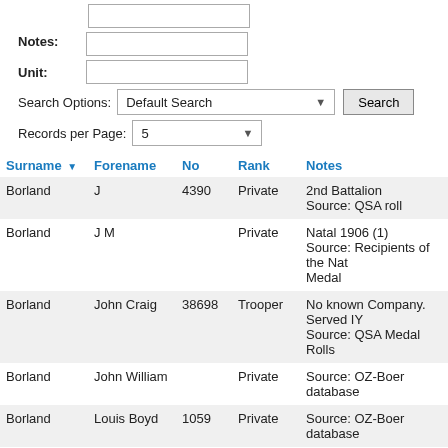Notes:
Unit:
Search Options: Default Search
Records per Page: 5
| Surname | Forename | No | Rank | Notes |
| --- | --- | --- | --- | --- |
| Borland | J | 4390 | Private | 2nd Battalion
Source: QSA roll |
| Borland | J M |  | Private | Natal 1906 (1)
Source: Recipients of the Nat... Medal |
| Borland | John Craig | 38698 | Trooper | No known Company. Served IY
Source: QSA Medal Rolls |
| Borland | John William |  | Private | Source: OZ-Boer database |
| Borland | Louis Boyd | 1059 | Private | Source: OZ-Boer database |